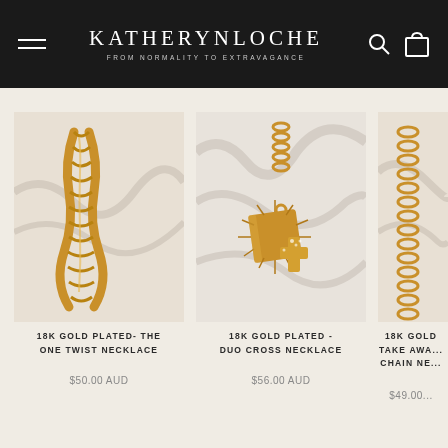KATHERYNLOCHE — FROM NORMALITY TO EXTRAVAGANCE
[Figure (photo): 18K gold plated rope/twist chain necklace on white fabric background]
18K GOLD PLATED- THE ONE TWIST NECKLACE
$50.00 AUD
[Figure (photo): 18K gold plated duo cross necklace with diamond cross pendant and square sunburst pendant on crumpled white fabric]
18K GOLD PLATED - DUO CROSS NECKLACE
$56.00 AUD
[Figure (photo): 18K gold plated take away chain necklace (partially visible)]
18K GOLD TAKE AWA... CHAIN NE...
$49.00...